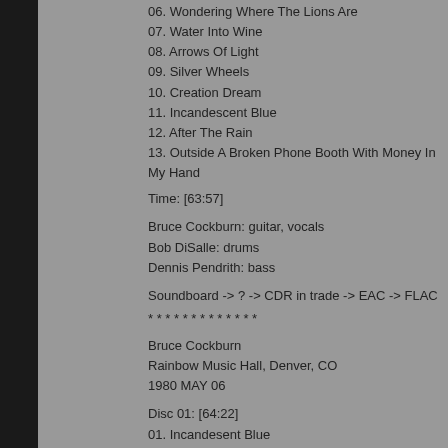06. Wondering Where The Lions Are
07. Water Into Wine
08. Arrows Of Light
09. Silver Wheels
10. Creation Dream
11. Incandescent Blue
12. After The Rain
13. Outside A Broken Phone Booth With Money In My Hand
Time: [63:57]
Bruce Cockburn: guitar, vocals
Bob DiSalle: drums
Dennis Pendrith: bass
Soundboard -> ? -> CDR in trade -> EAC -> FLAC
* * * * * * * * * * * * *
Bruce Cockburn
Rainbow Music Hall, Denver, CO
1980 MAY 06
Disc 01: [64:22]
01. Incandesent Blue
02. Grim Travelers
03. Starwheel
04. Creation Date
05. How I Spent My Summer Vacation
06. Laughter